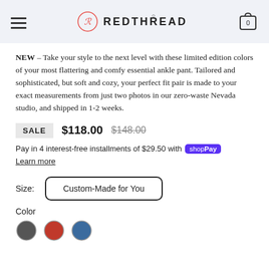REDTHREAD
NEW – Take your style to the next level with these limited edition colors of your most flattering and comfy essential ankle pant. Tailored and sophisticated, but soft and cozy, your perfect fit pair is made to your exact measurements from just two photos in our zero-waste Nevada studio, and shipped in 1-2 weeks.
SALE $118.00 $148.00
Pay in 4 interest-free installments of $29.50 with shopPay
Learn more
Size: Custom-Made for You
Color